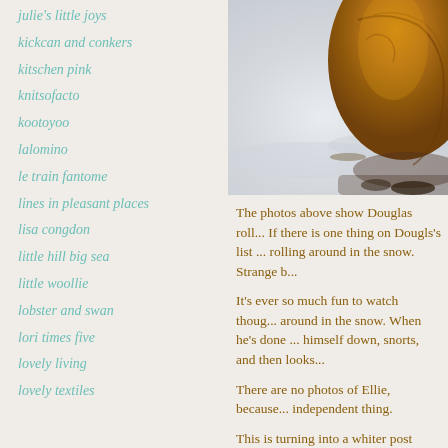julie's little joys
kickcan and conkers
kitschen pink
knitsofacto
kootoyoo
lalomino
le train fantome
lines in pleasant places
lisa congdon
little hill big sea
little woollie
lobster and swan
lori times five
lovely living
lovely textiles
[Figure (photo): A dog (Douglas) rolling in the snow, showing brown/golden fur against white snow background]
The photos above show Douglas roll... If there is one thing on Dougls's list ... rolling around in the snow. Strange b...
It's ever so much fun to watch thoug... around in the snow. When he's done ... himself down, snorts, and then looks...
There are no photos of Ellie, because... independent thing.
This is turning into a whiter post tha... Douglas in them, well, I can overloo...